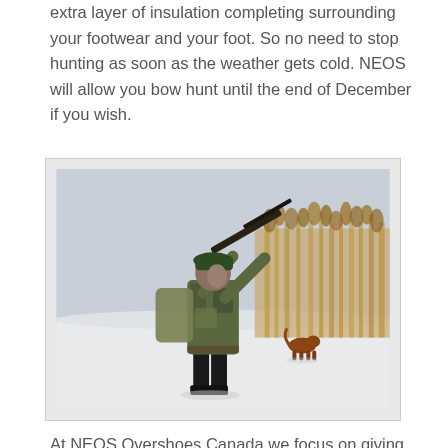extra layer of insulation completing surrounding your footwear and your foot. So no need to stop hunting as soon as the weather gets cold. NEOS will allow you bow hunt until the end of December if you wish.
[Figure (photo): A hunter in camouflage clothing and green hat aiming a rifle, standing in snow with dry reeds in the background and a brown dog nearby.]
At NEOS Overshoes Canada we focus on giving you the best online shopping experience possible.